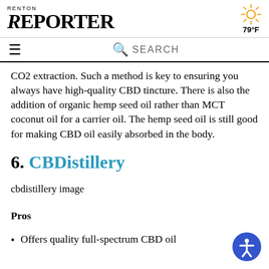RENTON REPORTER | 79°F
CO2 extraction. Such a method is key to ensuring you always have high-quality CBD tincture. There is also the addition of organic hemp seed oil rather than MCT coconut oil for a carrier oil. The hemp seed oil is still good for making CBD oil easily absorbed in the body.
6. CBDistillery
cbdistillery image
Pros
Offers quality full-spectrum CBD oil